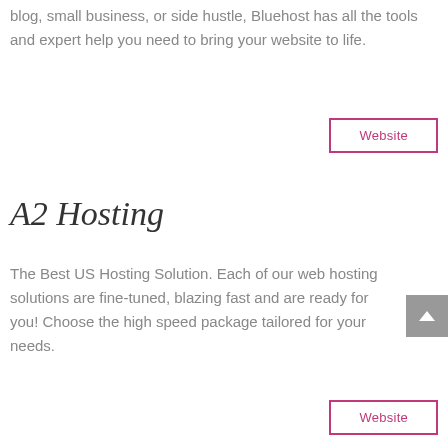blog, small business, or side hustle, Bluehost has all the tools and expert help you need to bring your website to life.
Website
A2 Hosting
The Best US Hosting Solution. Each of our web hosting solutions are fine-tuned, blazing fast and are ready for you! Choose the high speed package tailored for your needs.
Website